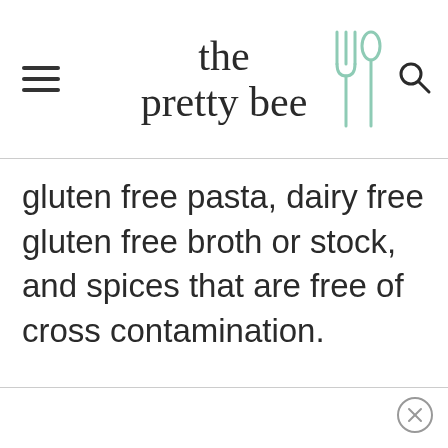the pretty bee
gluten free pasta, dairy free gluten free broth or stock, and spices that are free of cross contamination.